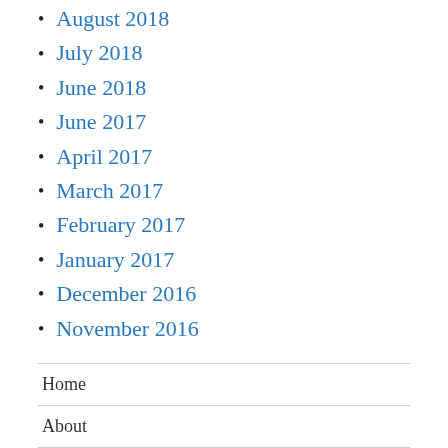August 2018
July 2018
June 2018
June 2017
April 2017
March 2017
February 2017
January 2017
December 2016
November 2016
Home
About